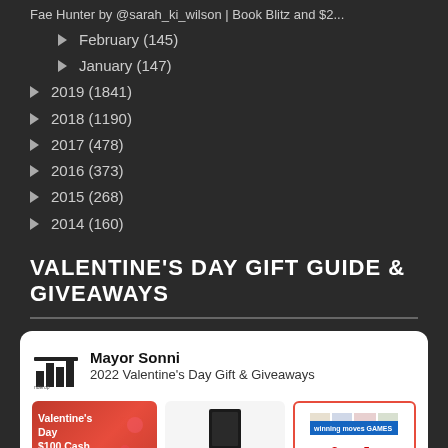Fae Hunter by @sarah_ki_wilson | Book Blitz and $2...
► February (145)
► January (147)
► 2019 (1841)
► 2018 (1190)
► 2017 (478)
► 2016 (373)
► 2015 (268)
► 2014 (160)
VALENTINE'S DAY GIFT GUIDE & GIVEAWAYS
[Figure (screenshot): Card embed showing Mayor Sonni / 2022 Valentine's Day Gift & Giveaways with three giveaway images: Valentine's Day $100 Cash Giveaway (Worldwide Ends 2-14-22), TRENDHIM Black Leather Wallet Giveaway (Ends 1/24), and Games For Valentines GIVEAWAY (Ends 1/24)]